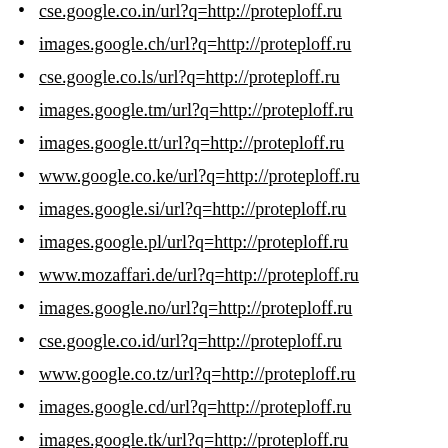cse.google.co.in/url?q=http://proteploff.ru
images.google.ch/url?q=http://proteploff.ru
cse.google.co.ls/url?q=http://proteploff.ru
images.google.tm/url?q=http://proteploff.ru
images.google.tt/url?q=http://proteploff.ru
www.google.co.ke/url?q=http://proteploff.ru
images.google.si/url?q=http://proteploff.ru
images.google.pl/url?q=http://proteploff.ru
www.mozaffari.de/url?q=http://proteploff.ru
images.google.no/url?q=http://proteploff.ru
cse.google.co.id/url?q=http://proteploff.ru
www.google.co.tz/url?q=http://proteploff.ru
images.google.cd/url?q=http://proteploff.ru
images.google.tk/url?q=http://proteploff.ru
images.google.mw/url?q=http://proteploff.ru
images.google.ae/url?q=http://proteploff.ru
www.google.co.id/url?q=http://proteploff.ru
images.google.lu/url?q=http://proteploff.ru
images.google.mk/url?q=http://proteploff.ru